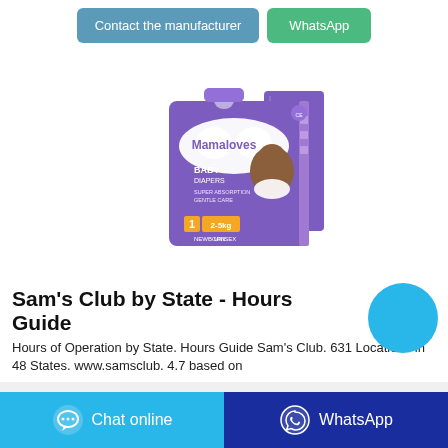[Figure (screenshot): Two buttons: 'Contact the manufacturer' (blue) and 'WhatsApp' (green)]
[Figure (photo): Mamaloves Baby Diapers product box, purple packaging, size 1, 2-5kg, Unisex, with image of a baby]
Sam's Club by State - Hours Guide
Hours of Operation by State. Hours Guide Sam's Club. 631 Locations in 48 States. www.samsclub. 4.7 based on
[Figure (other): Chat online button (cyan) and WhatsApp button (dark blue) at the bottom]